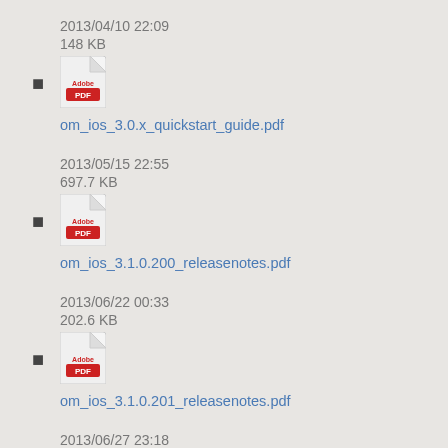2013/04/10 22:09
148 KB
om_ios_3.0.x_quickstart_guide.pdf
2013/05/15 22:55
697.7 KB
om_ios_3.1.0.200_releasenotes.pdf
2013/06/22 00:33
202.6 KB
om_ios_3.1.0.201_releasenotes.pdf
2013/06/27 23:18
202.5 KB